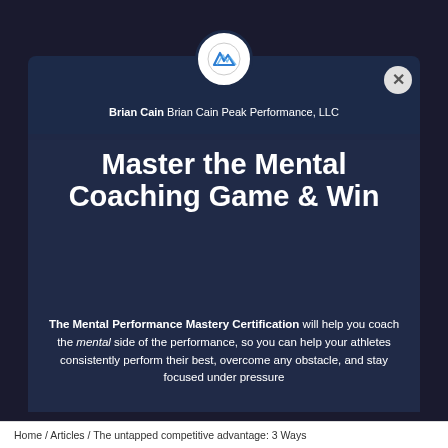[Figure (screenshot): Brian Cain Peak Performance modal popup with logo, author name, title text, and description over a dark basketball background]
Master the Mental Coaching Game & Win
The Mental Performance Mastery Certification will help you coach the mental side of the performance, so you can help your athletes consistently perform their best, overcome any obstacle, and stay focused under pressure
Home / Articles / The untapped competitive advantage: 3 Ways